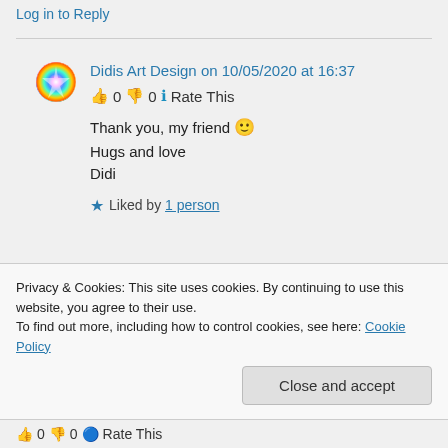Log in to Reply
Didis Art Design on 10/05/2020 at 16:37
👍 0 👎 0 ℹ Rate This
Thank you, my friend 🙂
Hugs and love
Didi
★ Liked by 1 person
Privacy & Cookies: This site uses cookies. By continuing to use this website, you agree to their use. To find out more, including how to control cookies, see here: Cookie Policy
Close and accept
👍 0 👎 0 🔵 Rate This